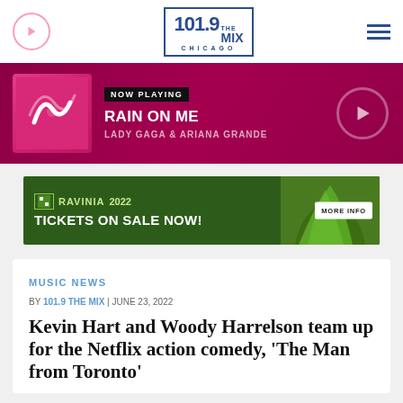101.9 THE MIX CHICAGO
[Figure (screenshot): Now Playing banner showing album art for Rain on Me by Lady Gaga & Ariana Grande on a dark magenta background]
[Figure (infographic): Ravinia 2022 Tickets on Sale Now advertisement banner with green background]
MUSIC NEWS
BY 101.9 THE MIX | JUNE 23, 2022
Kevin Hart and Woody Harrelson team up for the Netflix action comedy, 'The Man from Toronto'